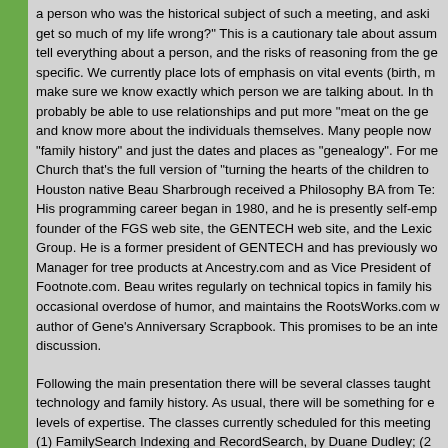a person who was the historical subject of such a meeting, and aski get so much of my life wrong?" This is a cautionary tale about assum tell everything about a person, and the risks of reasoning from the ge specific. We currently place lots of emphasis on vital events (birth, m make sure we know exactly which person we are talking about. In th probably be able to use relationships and put more "meat on the ge and know more about the individuals themselves. Many people now "family history" and just the dates and places as "genealogy". For me Church that's the full version of "turning the hearts of the children to Houston native Beau Sharbrough received a Philosophy BA from Te: His programming career began in 1980, and he is presently self-emp founder of the FGS web site, the GENTECH web site, and the Lexic Group. He is a former president of GENTECH and has previously wo Manager for tree products at Ancestry.com and as Vice President of Footnote.com. Beau writes regularly on technical topics in family his occasional overdose of humor, and maintains the RootsWorks.com w author of Gene's Anniversary Scrapbook. This promises to be an inte discussion.
Following the main presentation there will be several classes taught technology and family history. As usual, there will be something for e levels of expertise. The classes currently scheduled for this meeting (1) FamilySearch Indexing and RecordSearch, by Duane Dudley; (2